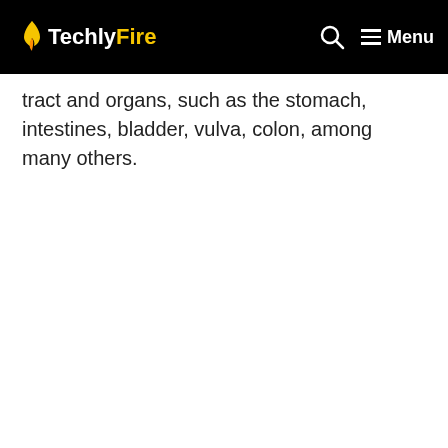TechlyFire [logo] [search icon] Menu
tract and organs, such as the stomach, intestines, bladder, vulva, colon, among many others.